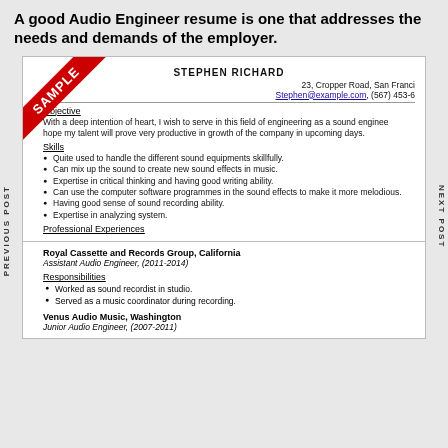A good Audio Engineer resume is one that addresses the needs and demands of the employer.
[Figure (illustration): Sample resume document for Stephen Richard, Audio Engineer, with a red diagonal 'SAMPLE' ribbon banner in the top left corner. Resume shows Objective, Skills, Professional Experiences sections.]
STEPHEN RICHARD
23, Cropper Road, San Francisco; Stephen@example.com, (567) 453-6
Objective
With a deep intention of heart, I wish to serve in this field of engineering as a sound engineer. I hope my talent will prove very productive in growth of the company in upcoming days.
Skills
Quite used to handle the different sound equipments skillfully.
Can mix up the sound to create new sound effects in music.
Expertise in critical thinking and having good writing ability.
Can use the computer software programmes in the sound effects to make it more melodious.
Having good sense of sound recording ability.
Expertise in analyzing system.
Professional Experiences
Royal Cassette and Records Group, California
Assistant Audio Engineer, (2011-2014)
Responsibilities
Worked as sound recordist in studio.
Served as a music coordinator during recording.
Venus Audio Music, Washington
Junior Audio Engineer, (2007-2011)